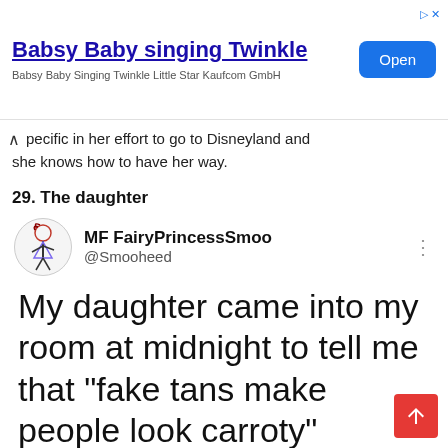[Figure (screenshot): Advertisement banner for 'Babsy Baby singing Twinkle' app by Kaufcom GmbH with an 'Open' button]
pecific in her effort to go to Disneyland and she knows how to have her way.
29. The daughter
[Figure (screenshot): Tweet from MF FairyPrincessSmoo (@Smooheed) with avatar showing a stick figure drawing of a girl]
My daughter came into my room at midnight to tell me that "fake tans make people look carroty"